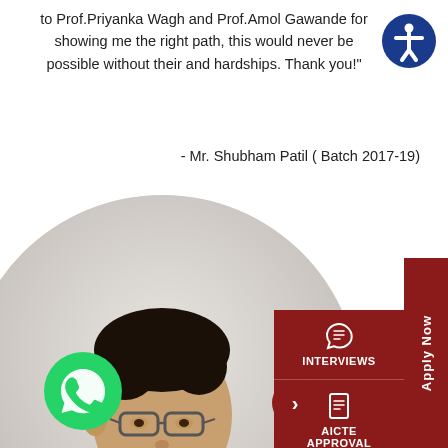to Prof.Priyanka Wagh and Prof.Amol Gawande for showing me the right path, this would never be possible without their and hardships. Thank you!"
- Mr. Shubham Patil ( Batch 2017-19)
[Figure (photo): Circular portrait photo of Mr. Shubham Patil, a young man wearing glasses, white shirt and tie, with dark hair, looking to the side]
INTERVIEWS
AICTE APPROVAL LETTER
Apply Now